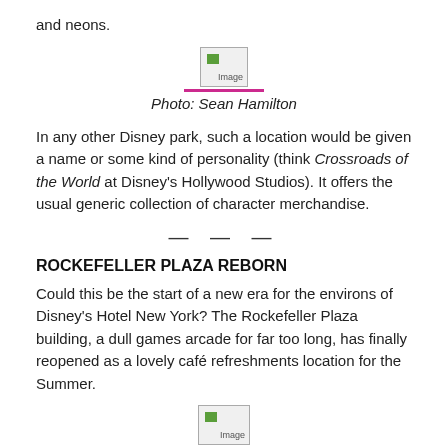and neons.
[Figure (photo): Image placeholder with pink underline]
Photo: Sean Hamilton
In any other Disney park, such a location would be given a name or some kind of personality (think Crossroads of the World at Disney's Hollywood Studios). It offers the usual generic collection of character merchandise.
— — —
ROCKEFELLER PLAZA REBORN
Could this be the start of a new era for the environs of Disney's Hotel New York? The Rockefeller Plaza building, a dull games arcade for far too long, has finally reopened as a lovely café refreshments location for the Summer.
[Figure (photo): Image placeholder at bottom]